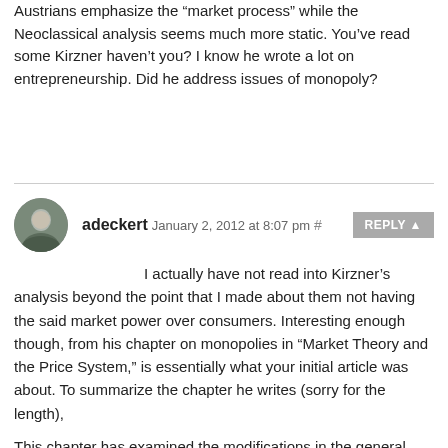Austrians emphasize the “market process” while the Neoclassical analysis seems much more static. You’ve read some Kirzner haven’t you? I know he wrote a lot on entrepreneurship. Did he address issues of monopoly?
adeckert January 2, 2012 at 8:07 pm #
I actually have not read into Kirzner’s analysis beyond the point that I made about them not having the said market power over consumers. Interesting enough though, from his chapter on monopolies in “Market Theory and the Price System,” is essentially what your initial article was about. To summarize the chapter he writes (sorry for the length),
This chapter has examined the modifications in the general market
process that are introduced as a result of the